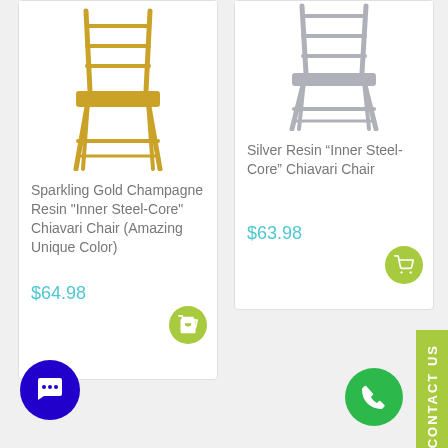[Figure (photo): Gold Chiavari chair product image cropped at top]
Sparkling Gold Champagne Resin "Inner Steel-Core" Chiavari Chair (Amazing Unique Color)
$64.98
[Figure (photo): Silver Chiavari chair product image cropped at top]
Silver Resin “Inner Steel-Core” Chiavari Chair
$63.98